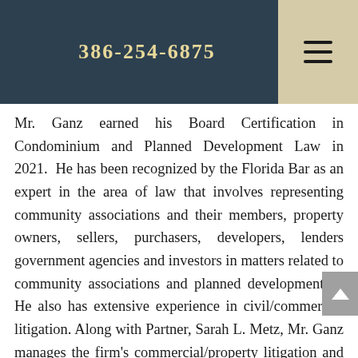386-254-6875
Mr. Ganz earned his Board Certification in Condominium and Planned Development Law in 2021.  He has been recognized by the Florida Bar as an expert in the area of law that involves representing community associations and their members, property owners, sellers, purchasers, developers, lenders government agencies and investors in matters related to community associations and planned developments.   He also has extensive experience in civil/commercial litigation. Along with Partner, Sarah L. Metz, Mr. Ganz manages the firm's commercial/property litigation and community association practice group where he represents a wide range of businesses and individuals in all facets of business, property and association law. His work includes advising